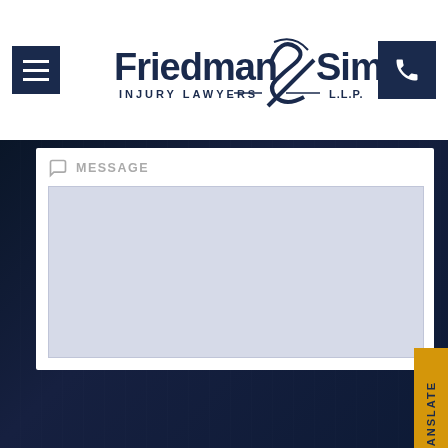[Figure (screenshot): Friedman & Simon Injury Lawyers LLP law firm website screenshot showing navigation bar with hamburger menu, firm logo, and phone button]
MESSAGE
[Figure (screenshot): Message text area input field with light blue-grey background]
TRANSLATE
GET MY FREE CASE REVIEW
[Figure (logo): Friedman & Simon Injury Lawyers LLP logo at bottom of page, white text on dark background with accessibility icon]